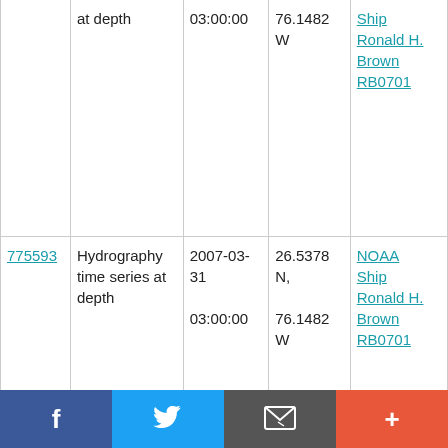| ID | Type | Date | Location | Platform |
| --- | --- | --- | --- | --- |
| (partial) | Hydrography time series at depth | 2007-03-31 03:00:00 | N, 76.1482 W | NOAA Ship Ronald H. Brown RB0701 |
| 775593 | Hydrography time series at depth | 2007-03-31 03:00:00 | 26.5378 N, 76.1482 W | NOAA Ship Ronald H. Brown RB0701 |
| 775600 | Hydrography time series at depth | 2007-03-31 03:00:00 | 26.5378 N, 76.1482 W | NOAA Ship Ronald H. Brown RB0701 |
| 775612 (partial) | Hydrography (partial) | 2007-03- (partial) | 26.5378 (partial) | NOAA (partial) |